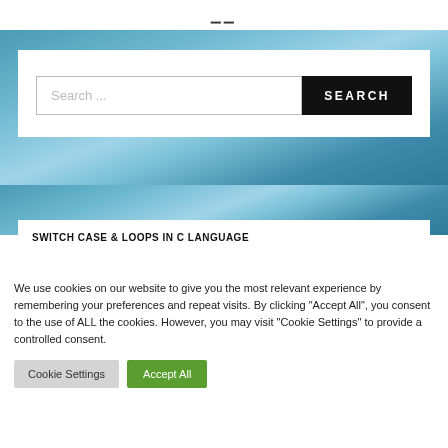≡
[Figure (screenshot): Blue watercolor background banner area]
Search ...
SEARCH
SWITCH CASE & LOOPS IN C LANGUAGE
We use cookies on our website to give you the most relevant experience by remembering your preferences and repeat visits. By clicking "Accept All", you consent to the use of ALL the cookies. However, you may visit "Cookie Settings" to provide a controlled consent.
Cookie Settings
Accept All